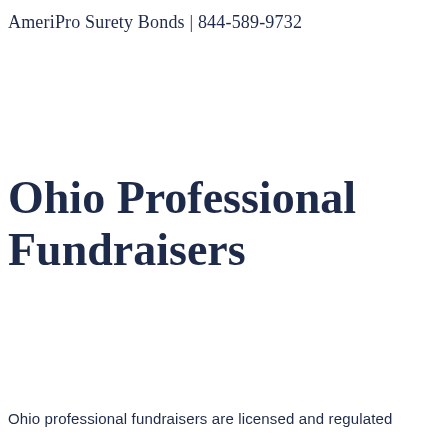AmeriPro Surety Bonds | 844-589-9732
Ohio Professional Fundraisers
Ohio professional fundraisers are licensed and regulated